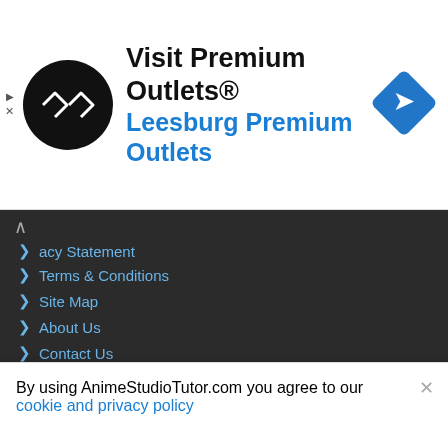[Figure (other): Advertisement banner: Visit Premium Outlets® Leesburg Premium Outlets, with a black circular logo with double-arrow icon on the left and a blue diamond navigation icon on the right]
acy Statement
Terms & Conditions
Site Map
About Us
Contact Us
Request Tutorials
NEW TUTORIAL UPDATES
Your Email Address [input field] Join [button]
Donate PayPal  Donate Crypto  Donate Patreon
Moho (Anime Studio) is a product by Lost Marble LLC. This site is in no way affiliated with Lost Marble LLC or Smith Micro Software, Inc. You
By using AnimeStudioTutor.com you agree to our cookie and privacy policy